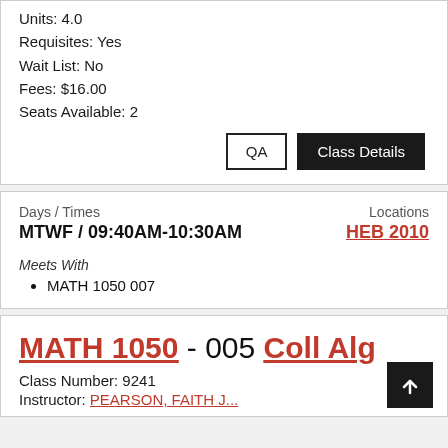Units: 4.0
Requisites: Yes
Wait List: No
Fees: $16.00
Seats Available: 2
QA   Class Details
Days / Times
MTWF / 09:40AM-10:30AM
Locations
HEB 2010
Meets With
MATH 1050 007
MATH 1050 - 005 Coll Alg
Class Number: 9241
Instructor: PEARSON, FAITH J...